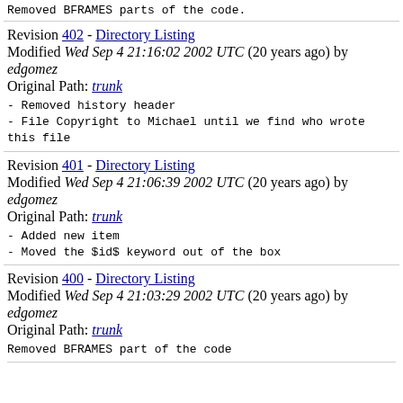Removed BFRAMES parts of the code.
Revision 402 - Directory Listing
Modified Wed Sep 4 21:16:02 2002 UTC (20 years ago) by edgomez
Original Path: trunk

- Removed history header
- File Copyright to Michael until we find who wrote this file
Revision 401 - Directory Listing
Modified Wed Sep 4 21:06:39 2002 UTC (20 years ago) by edgomez
Original Path: trunk

- Added new item
- Moved the $id$ keyword out of the box
Revision 400 - Directory Listing
Modified Wed Sep 4 21:03:29 2002 UTC (20 years ago) by edgomez
Original Path: trunk

Removed BFRAMES part of the code